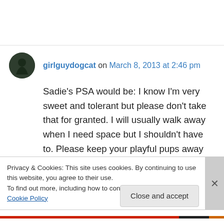girlguydogcat on March 8, 2013 at 2:46 pm
Sadie's PSA would be: I know I'm very sweet and tolerant but please don't take that for granted. I will usually walk away when I need space but I shouldn't have to. Please keep your playful pups away when I stop playing. And when you meet me, please don't bend down to
Privacy & Cookies: This site uses cookies. By continuing to use this website, you agree to their use.
To find out more, including how to control cookies, see here: Cookie Policy